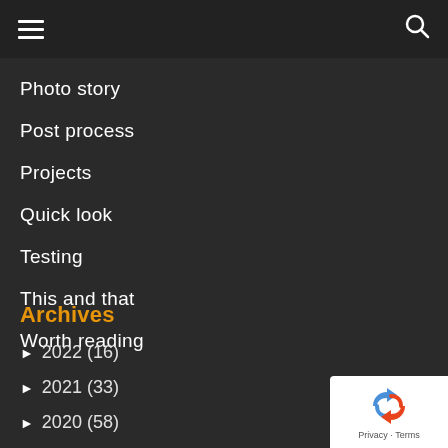Navigation header with hamburger menu and search icon
Photo story
Post process
Projects
Quick look
Testing
This and that
Worth reading
Archives
► 2022 (16)
► 2021 (33)
► 2020 (58)
[Figure (logo): reCAPTCHA badge with Privacy and Terms links]